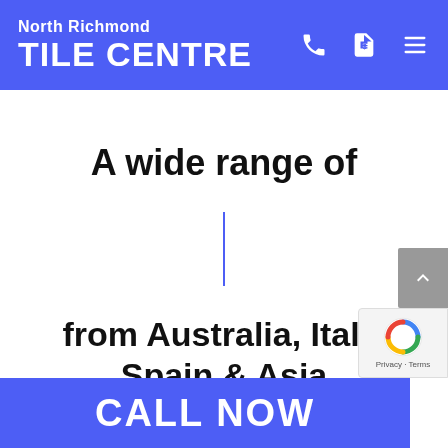North Richmond TILE CENTRE
A wide range of
from Australia, Italy, Spain & Asia
CALL NOW